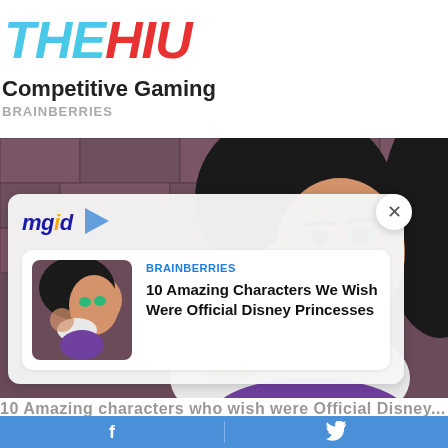THEHIU
Competitive Gaming
BRAINBERRIES
[Figure (illustration): Disney animated character (Esmeralda) with black hair and green eyes, with stone wall background, partially obscured by MGID overlay card]
[Figure (screenshot): MGID sponsored content overlay card showing Brainberries article: '10 Amazing Characters We Wish Were Official Disney Princesses' with thumbnail image of Disney character]
10 Amazing characters who wish were Official Disney...
Facebook | Twitter social share bar